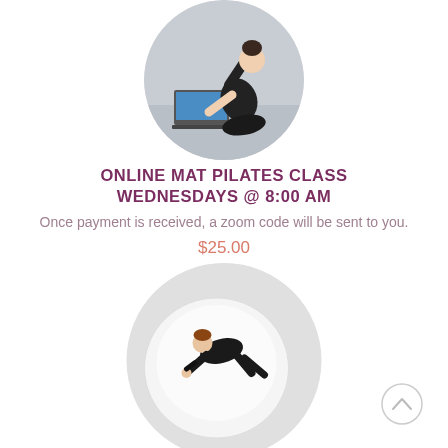[Figure (photo): Circular cropped photo of a woman in black athletic wear doing a Pilates stretch/side bend pose on a mat in front of a laptop screen]
ONLINE MAT PILATES CLASS WEDNESDAYS @ 8:00 AM
Once payment is received, a zoom code will be sent to you.
$25.00
[Figure (photo): Circular cropped photo of a woman in black athletic wear doing a Pilates exercise on a large white exercise ball]
[Figure (other): Back-to-top navigation button — circular outline with an upward-pointing chevron]